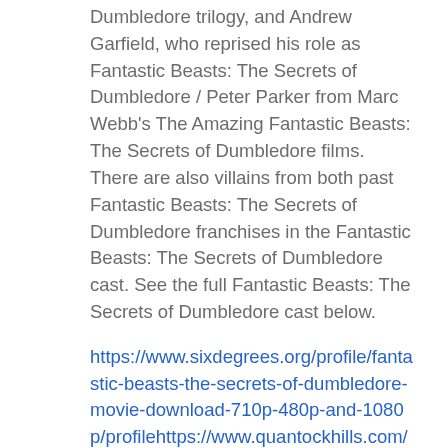Dumbledore trilogy, and Andrew Garfield, who reprised his role as Fantastic Beasts: The Secrets of Dumbledore / Peter Parker from Marc Webb's The Amazing Fantastic Beasts: The Secrets of Dumbledore films. There are also villains from both past Fantastic Beasts: The Secrets of Dumbledore franchises in the Fantastic Beasts: The Secrets of Dumbledore cast. See the full Fantastic Beasts: The Secrets of Dumbledore cast below.
https://www.sixdegrees.org/profile/fantastic-beasts-the-secrets-of-dumbledore-movie-download-710p-480p-and-1080p/profilehttps://www.quantockhills.com/profile/123movies-fantastic-beasts-the-secrets-of-dumbledore-putlocker/profilehttps://www.endometriosisaustralia.org/profile/watch-fantastic-beasts-the-secrets-of-dumbledore-free-online-...